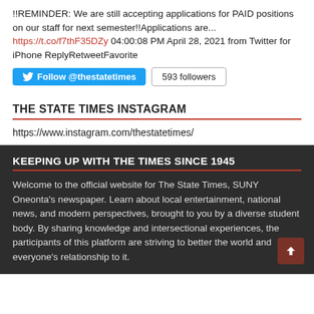!!REMINDER: We are still accepting applications for PAID positions on our staff for next semester!!Applications are... https://t.co/f7thF35DZy 04:00:08 PM April 28, 2021 from Twitter for iPhone ReplyRetweetFavorite
Follow @thestatetimes  593 followers
THE STATE TIMES INSTAGRAM
https://www.instagram.com/thestatetimes/
KEEPING UP WITH THE TIMES SINCE 1945
Welcome to the official website for The State Times, SUNY Oneonta's newspaper. Learn about local entertainment, national news, and modern perspectives, brought to you by a diverse student body. By sharing knowledge and intersectional experiences, the participants of this platform are striving to better the world and everyone's relationship to it.